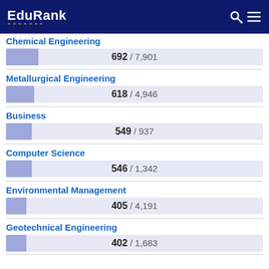EduRank
Chemical Engineering
[Figure (bar-chart): Chemical Engineering]
Metallurgical Engineering
[Figure (bar-chart): Metallurgical Engineering]
Business
[Figure (bar-chart): Business]
Computer Science
[Figure (bar-chart): Computer Science]
Environmental Management
[Figure (bar-chart): Environmental Management]
Geotechnical Engineering
[Figure (bar-chart): Geotechnical Engineering]